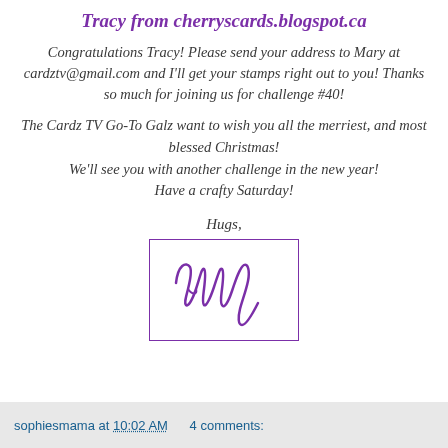Tracy from cherryscards.blogspot.ca
Congratulations Tracy! Please send your address to Mary at cardztv@gmail.com and I'll get your stamps right out to you! Thanks so much for joining us for challenge #40!
The Cardz TV Go-To Galz want to wish you all the merriest, and most blessed Christmas! We'll see you with another challenge in the new year! Have a crafty Saturday!
Hugs,
[Figure (illustration): Handwritten cursive signature reading 'Mary' in purple ink, inside a purple-bordered rectangle]
sophiesmama at 10:02 AM   4 comments: